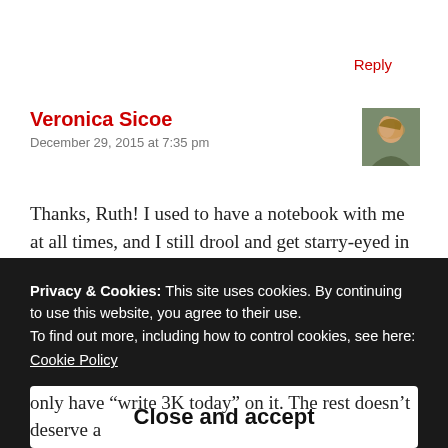Reply
Veronica Sicoe
December 29, 2015 at 7:35 pm
[Figure (photo): Avatar photo of Veronica Sicoe, a woman with blonde hair]
Thanks, Ruth! I used to have a notebook with me at all times, and I still drool and get starry-eyed in the stationery section. But I use the computer nowadays almost
Privacy & Cookies: This site uses cookies. By continuing to use this website, you agree to their use.
To find out more, including how to control cookies, see here:
Cookie Policy
Close and accept
only have “write 3K today” on it. The rest doesn’t deserve a